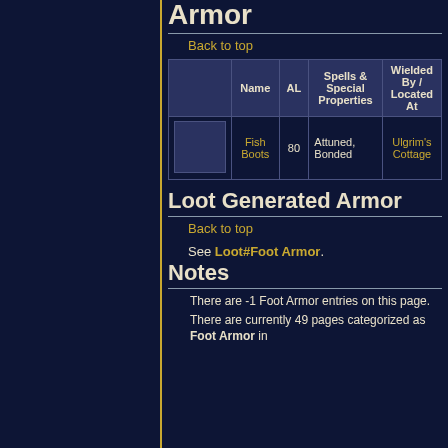Armor
Back to top
|  | Name | AL | Spells & Special Properties | Wielded By / Located At |
| --- | --- | --- | --- | --- |
|  | Fish Boots | 80 | Attuned, Bonded | Ulgrim's Cottage |
Loot Generated Armor
Back to top
See Loot#Foot Armor.
Notes
There are -1 Foot Armor entries on this page.
There are currently 49 pages categorized as Foot Armor in